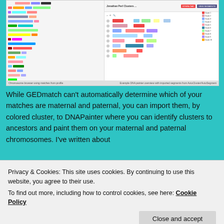[Figure (screenshot): Screenshot showing two panels: left panel is a Chromosome browser using matches from profile with colored segment bars across chromosomes; right panel shows an Example DNA Painter overview with imported segments from AutoCluster/AutoSegment, displaying Jonathan Perl Clusters interface with colored segment blocks across chromosomes and a legend on the right.]
While GEDmatch can't automatically determine which of your matches are maternal and paternal, you can import them, by colored cluster, to DNAPainter where you can identify clusters to ancestors and paint them on your maternal and paternal chromosomes. I've written about
Privacy & Cookies: This site uses cookies. By continuing to use this website, you agree to their use.
To find out more, including how to control cookies, see here: Cookie Policy
The next section of your file shows 'Chromosome